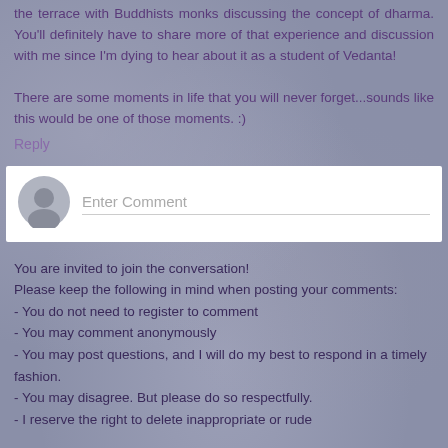the terrace with Buddhists monks discussing the concept of dharma. You'll definitely have to share more of that experience and discussion with me since I'm dying to hear about it as a student of Vedanta!

There are some moments in life that you will never forget...sounds like this would be one of those moments. :)
Reply
[Figure (screenshot): Comment input box with avatar icon and 'Enter Comment' placeholder text]
You are invited to join the conversation!
Please keep the following in mind when posting your comments:
- You do not need to register to comment
- You may comment anonymously
- You may post questions, and I will do my best to respond in a timely fashion.
- You may disagree. But please do so respectfully.
- I reserve the right to delete inappropriate or rude